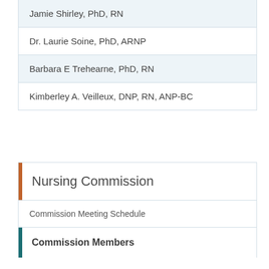| Jamie Shirley, PhD, RN |
| Dr. Laurie Soine, PhD, ARNP |
| Barbara E Trehearne, PhD, RN |
| Kimberley A. Veilleux, DNP, RN, ANP-BC |
Nursing Commission
Commission Meeting Schedule
Commission Members